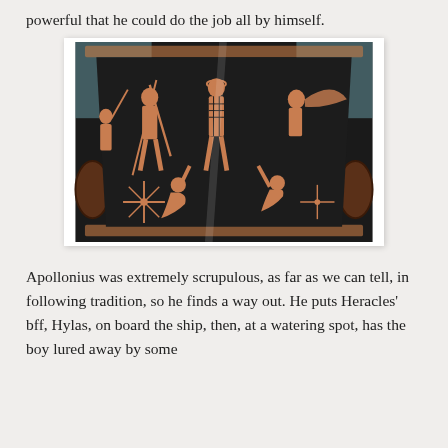powerful that he could do the job all by himself.
[Figure (photo): Ancient Greek red-figure krater (vase) depicting mythological figures including warriors and athletes in classical terracotta figures on a black background. The vessel has two handles and shows multiple human figures in various poses.]
Apollonius was extremely scrupulous, as far as we can tell, in following tradition, so he finds a way out. He puts Heracles' bff, Hylas, on board the ship, then, at a watering spot, has the boy lured away by some